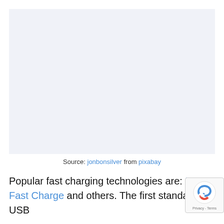[Figure (photo): Light blue-gray placeholder rectangle representing an embedded image, sourced from jonbonsilver on pixabay]
Source: jonbonsilver from pixabay
Popular fast charging technologies are: Power Delivery, Samsung Adaptive Fast Charging, Apple Fast Charge and others. The first standard allows you to reach up to 100 W and focuses mainly on USB